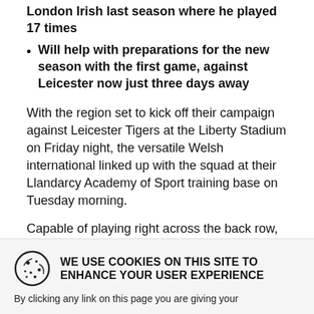London Irish last season where he played 17 times
Will help with preparations for the new season with the first game, against Leicester now just three days away
With the region set to kick off their campaign against Leicester Tigers at the Liberty Stadium on Friday night, the versatile Welsh international linked up with the squad at their Llandarcy Academy of Sport training base on Tuesday morning.
Capable of playing right across the back row, McCusker joins the Ospreys after Sam Underhill underwent surgery on his shoulder that will sideline him for four months, and with several other back row forwards at various stages of their rehabilitation
WE USE COOKIES ON THIS SITE TO ENHANCE YOUR USER EXPERIENCE
By clicking any link on this page you are giving your